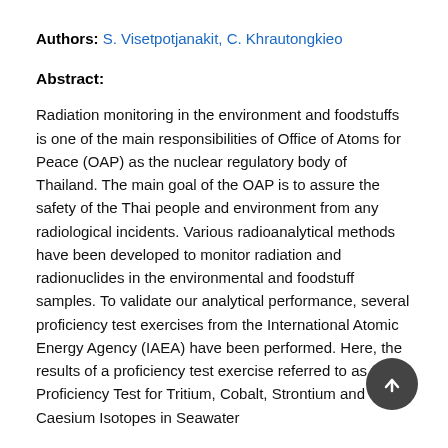Authors: S. Visetpotjanakit, C. Khrautongkieo
Abstract:
Radiation monitoring in the environment and foodstuffs is one of the main responsibilities of Office of Atoms for Peace (OAP) as the nuclear regulatory body of Thailand. The main goal of the OAP is to assure the safety of the Thai people and environment from any radiological incidents. Various radioanalytical methods have been developed to monitor radiation and radionuclides in the environmental and foodstuff samples. To validate our analytical performance, several proficiency test exercises from the International Atomic Energy Agency (IAEA) have been performed. Here, the results of a proficiency test exercise referred to as the Proficiency Test for Tritium, Cobalt, Strontium and Caesium Isotopes in Seawater